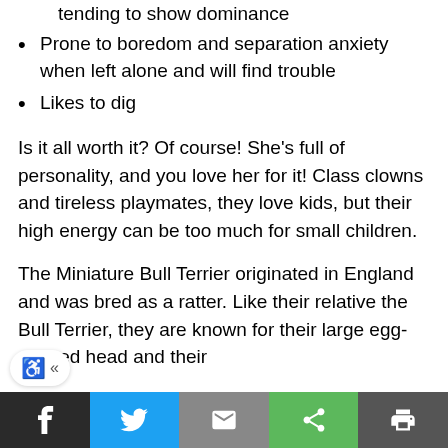tending to show dominance
Prone to boredom and separation anxiety when left alone and will find trouble
Likes to dig
Is it all worth it? Of course! She’s full of personality, and you love her for it! Class clowns and tireless playmates, they love kids, but their high energy can be too much for small children.
The Miniature Bull Terrier originated in England and was bred as a ratter. Like their relative the Bull Terrier, they are known for their large egg-shaped head and their